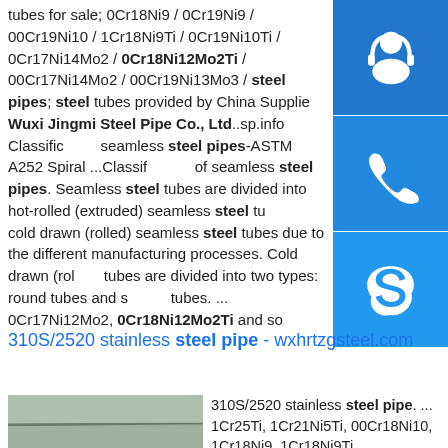tubes for sale; 0Cr18Ni9 / 0Cr19Ni9 / 00Cr19Ni10 / 1Cr18Ni9Ti / 0Cr19Ni10Ti / 0Cr17Ni14Mo2 / 0Cr18Ni12Mo2Ti / 00Cr17Ni14Mo2 / 00Cr19Ni13Mo3 / steel pipes; steel tubes provided by China Supplier Wuxi Jingmi Steel Pipe Co., Ltd..sp.info Classification seamless steel pipes-ASTM A252 Spiral ...Classification of seamless steel pipes. Seamless steel tubes are divided into hot-rolled (extruded) seamless steel tubes and cold drawn (rolled) seamless steel tubes due to the different manufacturing processes. Cold drawn (rolled) tubes are divided into two types: round tubes and square tubes. ... 0Cr17Ni12Mo2, 0Cr18Ni12Mo2Ti and so
[Figure (illustration): Headset/support icon button (blue background, white headset icon)]
[Figure (illustration): Phone icon button (blue background, white phone icon)]
[Figure (illustration): Skype icon button (blue background, white Skype logo icon)]
310S/2520 stainless steel pipe - wxhrtzgsteel.com
[Figure (photo): Photo of stainless steel plates/sheets stacked or laid flat, showing metallic surface with lines/edges visible]
310S/2520 stainless steel pipe. ... 1Cr25Ti, 1Cr21Ni5Ti, 00Cr18Ni10, 1Cr18Ni9, 1Cr18Ni9Ti,